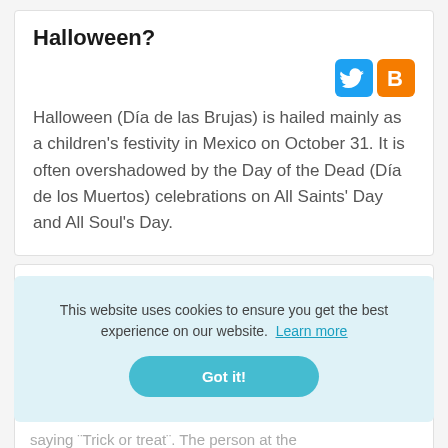Halloween?
[Figure (other): Twitter and Blogger social share icon buttons]
Halloween (Día de las Brujas) is hailed mainly as a children's festivity in Mexico on October 31. It is often overshadowed by the Day of the Dead (Día de los Muertos) celebrations on All Saints' Day and All Soul's Day.
This website uses cookies to ensure you get the best experience on our website.  Learn more
Got it!
saying ¨Trick or treat¨. The person at the